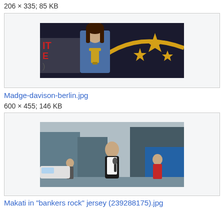206 × 335; 85 KB
[Figure (photo): A woman standing at a podium holding a trophy, with a dark background featuring gold star decorations and partial text.]
Madge-davison-berlin.jpg
600 × 455; 146 KB
[Figure (photo): A person standing on a city street with a microphone, wearing a black jacket over a white shirt, with storefronts and people in the background.]
Makati in "bankers rock" jersey (239288175).jpg